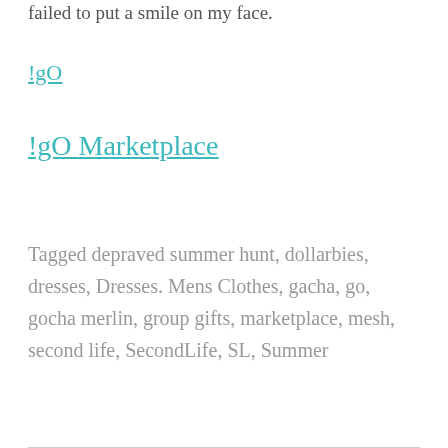failed to put a smile on my face.
!gO
!gO Marketplace
Tagged depraved summer hunt, dollarbies, dresses, Dresses. Mens Clothes, gacha, go, gocha merlin, group gifts, marketplace, mesh, second life, SecondLife, SL, Summer